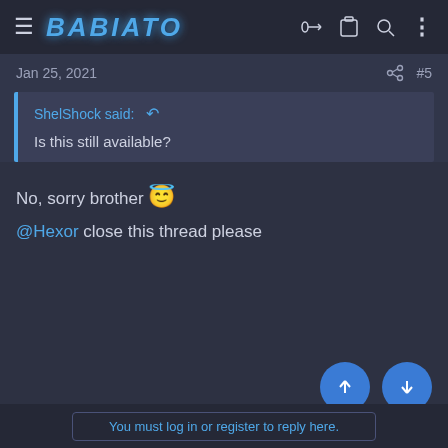BABIATO
Jan 25, 2021  #5
ShelShock said: ↺

Is this still available?
No, sorry brother 😇
@Hexor close this thread please
You must log in or register to reply here.